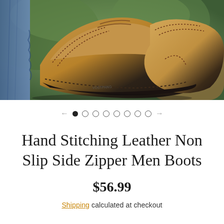[Figure (photo): Close-up photo of brown leather hand-stitched boots sole/bottom held up, showing dark stitching and black rubber sole, outdoors with blurred green background and denim jeans visible on the left]
[Figure (other): Image carousel navigation: left arrow, 8 dots (first filled, rest empty), right arrow]
Hand Stitching Leather Non Slip Side Zipper Men Boots
$56.99
Shipping calculated at checkout